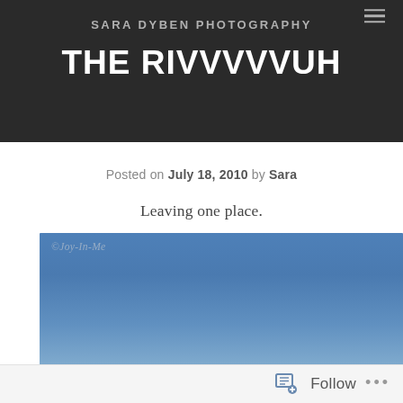SARA DYBEN PHOTOGRAPHY
THE RIVVVVVUH
Posted on July 18, 2010 by Sara
Leaving one place.
[Figure (photo): A blue sky photograph with a watermark reading ©Joy-In-Me in the upper left corner]
Follow ...